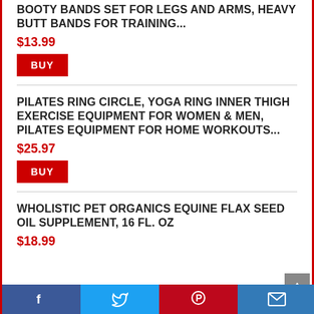BOOTY BANDS SET FOR LEGS AND ARMS, HEAVY BUTT BANDS FOR TRAINING...
$13.99
BUY
PILATES RING CIRCLE, YOGA RING INNER THIGH EXERCISE EQUIPMENT FOR WOMEN & MEN, PILATES EQUIPMENT FOR HOME WORKOUTS...
$25.97
BUY
WHOLISTIC PET ORGANICS EQUINE FLAX SEED OIL SUPPLEMENT, 16 FL. OZ
$18.99
Facebook | Twitter | Pinterest | Email